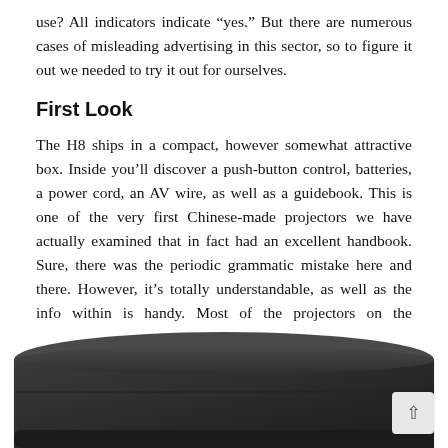use? All indicators indicate “yes.” But there are numerous cases of misleading advertising in this sector, so to figure it out we needed to try it out for ourselves.
First Look
The H8 ships in a compact, however somewhat attractive box. Inside you’ll discover a push-button control, batteries, a power cord, an AV wire, as well as a guidebook. This is one of the very first Chinese-made projectors we have actually examined that in fact had an excellent handbook. Sure, there was the periodic grammatic mistake here and there. However, it’s totally understandable, as well as the info within is handy. Most of the projectors on the marketplace are easy, so we’re not worried about the guidebook. Yet because this set has its own operating system, having an overview of the functions is necessary.
[Figure (photo): Bottom portion of a dark/black projector device on a white background, partially cropped]